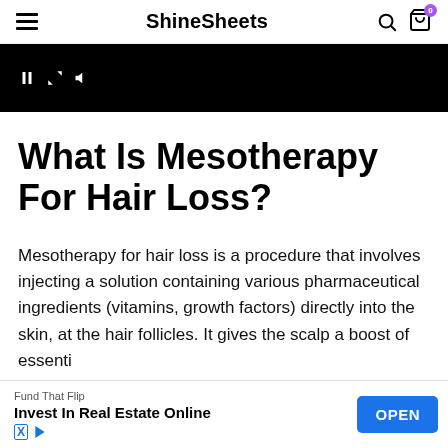ShineSheets
[Figure (screenshot): Video player showing black screen with playback controls (pause, resize, audio icons) in white]
What Is Mesotherapy For Hair Loss?
Mesotherapy for hair loss is a procedure that involves injecting a solution containing various pharmaceutical ingredients (vitamins, growth factors) directly into the skin, at the hair follicles. It gives the scalp a boost of essenti...
[Figure (other): Advertisement banner: Fund That Flip — Invest In Real Estate Online, with OPEN button]